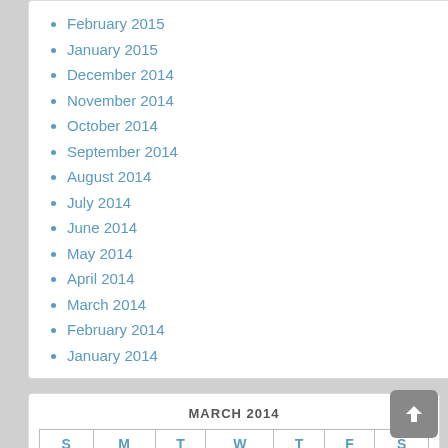February 2015
January 2015
December 2014
November 2014
October 2014
September 2014
August 2014
July 2014
June 2014
May 2014
April 2014
March 2014
February 2014
January 2014
MARCH 2014
| S | M | T | W | T | F | S |
| --- | --- | --- | --- | --- | --- | --- |
|  |  |  |  |  |  | 1 |
| 2 | 3 | 4 | 5 | 6 | 7 | 8 |